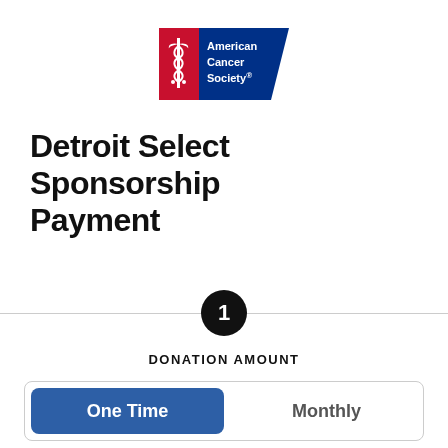[Figure (logo): American Cancer Society logo with red and blue design and caduceus symbol]
Detroit Select Sponsorship Payment
1
DONATION AMOUNT
One Time   Monthly